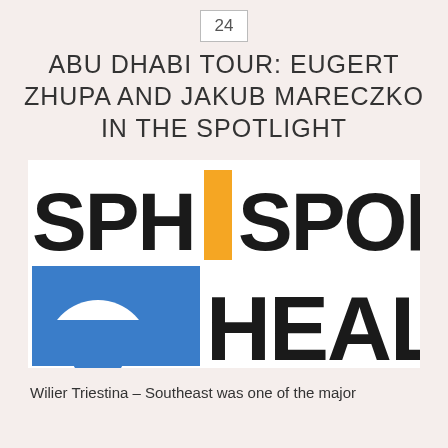24
ABU DHABI TOUR: EUGERT ZHUPA AND JAKUB MARECZKO IN THE SPOTLIGHT
[Figure (logo): SPH SportPlus Health logo — black text 'SPH' with orange rectangle accent, 'SPORTPLUS' in black and orange, blue square with white circular arc icon, 'HEALTH' in black bold text]
Wilier Triestina – Southeast was one of the major